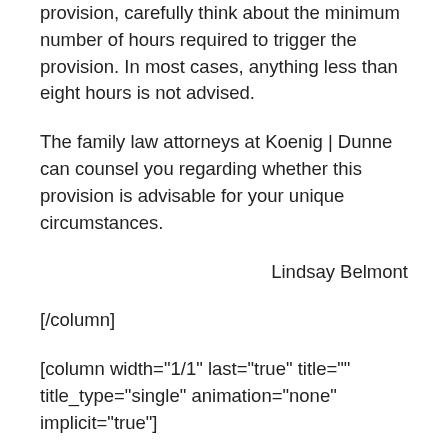provision, carefully think about the minimum number of hours required to trigger the provision. In most cases, anything less than eight hours is not advised.
The family law attorneys at Koenig | Dunne can counsel you regarding whether this provision is advisable for your unique circumstances.
Lindsay Belmont
[/column]
[column width="1/1" last="true" title="" title_type="single" animation="none" implicit="true"]